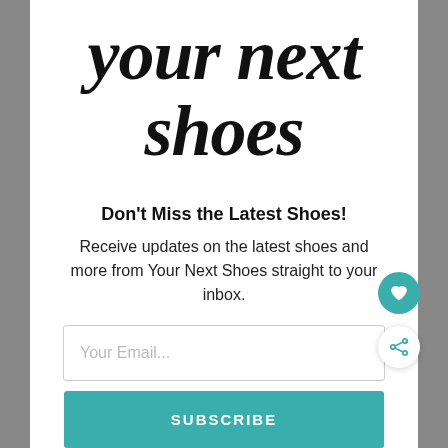your next shoes
Don't Miss the Latest Shoes!
Receive updates on the latest shoes and more from Your Next Shoes straight to your inbox.
Your Email...
SUBSCRIBE